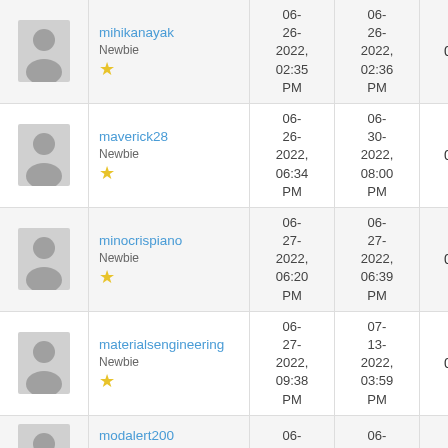| Avatar | Username/Rank | Joined | Last Active | Col5 | Col6 |
| --- | --- | --- | --- | --- | --- |
|  | mihikanayak
Newbie
★ | 06-26-2022, 02:35 PM | 06-26-2022, 02:36 PM | 0 | 0 |
|  | maverick28
Newbie
★ | 06-26-2022, 06:34 PM | 06-30-2022, 08:00 PM | 0 | 0 |
|  | minocrispiano
Newbie
★ | 06-27-2022, 06:20 PM | 06-27-2022, 06:39 PM | 0 | 0 |
|  | materialsengineering
Newbie
★ | 06-27-2022, 09:38 PM | 07-13-2022, 03:59 PM | 0 | 0 |
|  | modalert200
Newbie
★ | 06-29-2022, | 06-29-2022, | 0 | 0 |